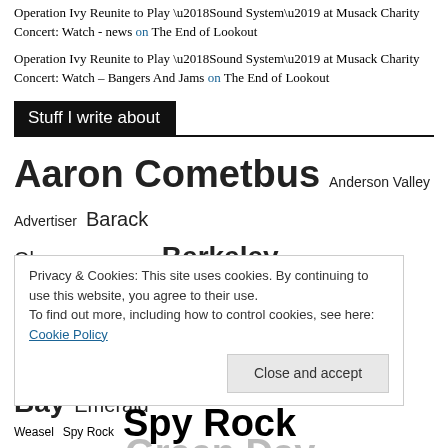Operation Ivy Reunite to Play ‘Sound System’ at Musack Charity Concert: Watch - news on The End of Lookout
Operation Ivy Reunite to Play ‘Sound System’ at Musack Charity Concert: Watch – Bangers And Jams on The End of Lookout
Stuff I write about
Aaron Cometbus Anderson Valley Advertiser Barack Obama Ben Weasel Berkeley Billie Joe Armstrong Brooklyn California Cometbus Detroit Don Giovanni Records East Bay Emerald Gilman Street Green Day … Francisco Screaming Females Screeching Weasel Spy Rock
Privacy & Cookies: This site uses cookies. By continuing to use this website, you agree to their use.
To find out more, including how to control cookies, see here: Cookie Policy
Close and accept